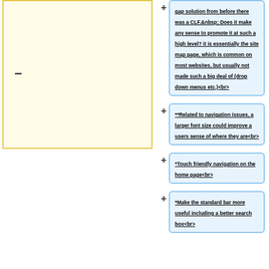[Figure (other): Empty yellow-bordered box on left side of page, with a minus sign on its left edge]
gap solution from before there was a CLF.  Does it make any sense to promote it at such a high level? it is essentially the site map page, which is common on most websites, but usually not made such a big deal of (drop down menus etc.)<br>
**Related to navigation issues, a larger font size could improve a users sense of where they are<br>
*Touch friendly navigation on the home page<br>
*Make the standard bar more useful including a better search box<br>